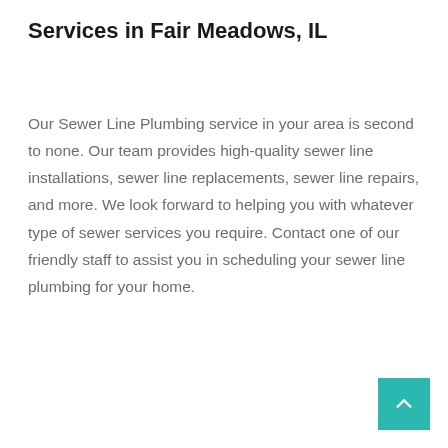Services in Fair Meadows, IL
Our Sewer Line Plumbing service in your area is second to none. Our team provides high-quality sewer line installations, sewer line replacements, sewer line repairs, and more. We look forward to helping you with whatever type of sewer services you require. Contact one of our friendly staff to assist you in scheduling your sewer line plumbing for your home.